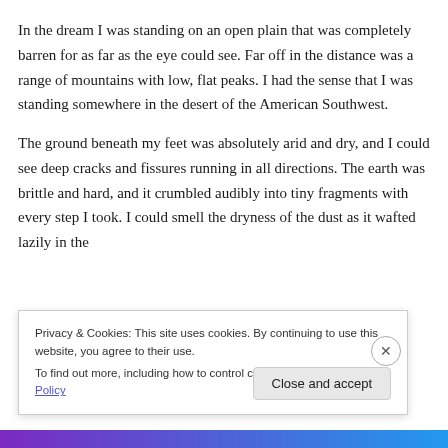In the dream I was standing on an open plain that was completely barren for as far as the eye could see. Far off in the distance was a range of mountains with low, flat peaks. I had the sense that I was standing somewhere in the desert of the American Southwest.

The ground beneath my feet was absolutely arid and dry, and I could see deep cracks and fissures running in all directions. The earth was brittle and hard, and it crumbled audibly into tiny fragments with every step I took. I could smell the dryness of the dust as it wafted lazily in the
Privacy & Cookies: This site uses cookies. By continuing to use this website, you agree to their use.
To find out more, including how to control cookies, see here: Cookie Policy
Close and accept